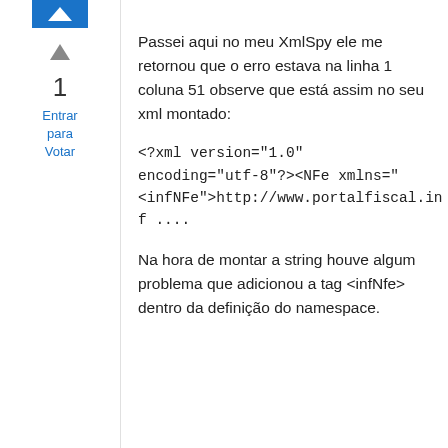[Figure (other): Blue icon/logo bar at the top left]
▲
1
Entrar para Votar
Passei aqui no meu XmlSpy ele me retornou que o erro estava na linha 1 coluna 51 observe que está assim no seu xml montado:
<?xml version="1.0" encoding="utf-8"?><NFe xmlns="<infNFe">http://www.portalfiscal.inf ....
Na hora de montar a string houve algum problema que adicionou a tag <infNfe> dentro da definição do namespace.